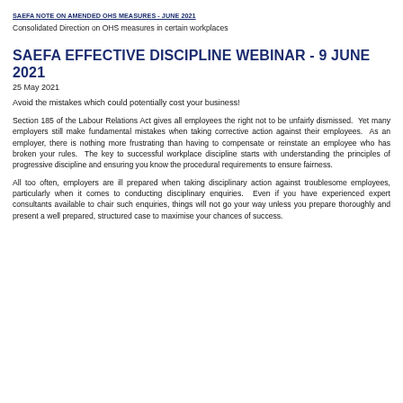SAEFA NOTE ON AMENDED OHS MEASURES - JUNE 2021
Consolidated Direction on OHS measures in certain workplaces
SAEFA EFFECTIVE DISCIPLINE WEBINAR - 9 JUNE 2021
25 May 2021
Avoid the mistakes which could potentially cost your business!
Section 185 of the Labour Relations Act gives all employees the right not to be unfairly dismissed.  Yet many employers still make fundamental mistakes when taking corrective action against their employees.  As an employer, there is nothing more frustrating than having to compensate or reinstate an employee who has broken your rules.  The key to successful workplace discipline starts with understanding the principles of progressive discipline and ensuring you know the procedural requirements to ensure fairness.
All too often, employers are ill prepared when taking disciplinary action against troublesome employees, particularly when it comes to conducting disciplinary enquiries.  Even if you have experienced expert consultants available to chair such enquiries, things will not go your way unless you prepare thoroughly and present a well prepared, structured case to maximise your chances of success.